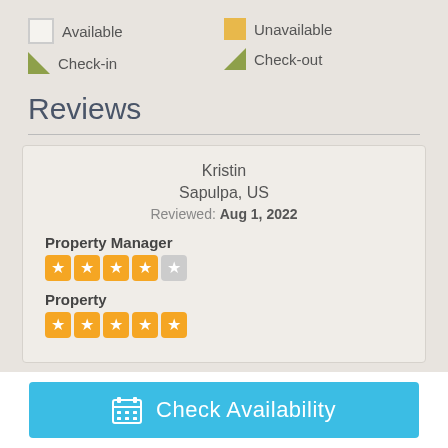Available
Unavailable
Check-in
Check-out
Reviews
Kristin
Sapulpa, US
Reviewed: Aug 1, 2022
Property Manager
[Figure (other): 4 out of 5 stars rating for Property Manager]
Property
[Figure (other): 5 out of 5 stars rating for Property]
Check Availability